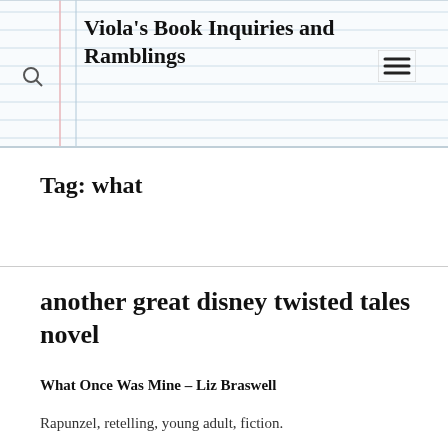Viola's Book Inquiries and Ramblings
Tag: what
another great disney twisted tales novel
What Once Was Mine – Liz Braswell
Rapunzel, retelling, young adult, fiction.